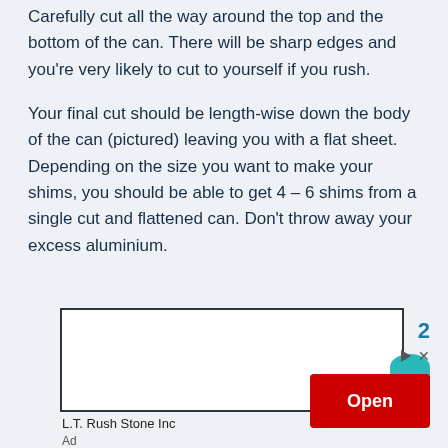Carefully cut all the way around the top and the bottom of the can. There will be sharp edges and you're very likely to cut to yourself if you rush.
Your final cut should be length-wise down the body of the can (pictured) leaving you with a flat sheet. Depending on the size you want to make your shims, you should be able to get 4 – 6 shims from a single cut and flattened can. Don't throw away your excess aluminium.
[Figure (other): Advertisement banner for L.T. Rush Stone Inc with an Open button]